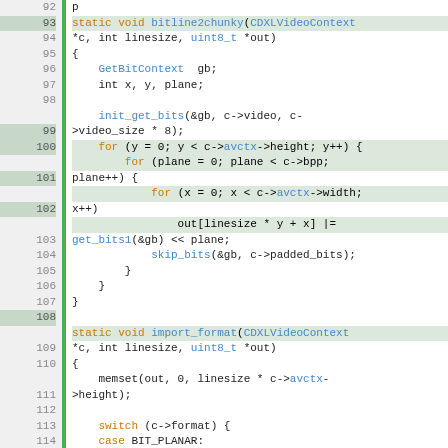[Figure (screenshot): Source code viewer showing C code lines 92-119, with line numbers on the left, a green vertical gutter bar, and syntax-highlighted code on the right. Keywords in orange, function/type names in blue, plain code in dark/black.]